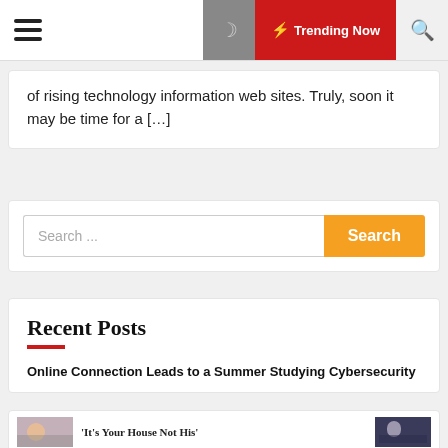☰  [moon icon]  ⚡ Trending Now  🔍
of rising technology information web sites. Truly, soon it may be time for a […]
Search ...  [Search button]
Recent Posts
Online Connection Leads to a Summer Studying Cybersecurity
'It's Your House Not His'